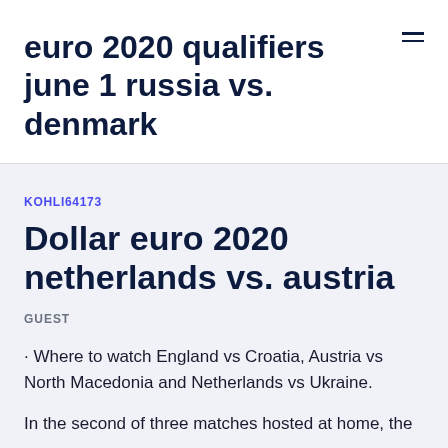euro 2020 qualifiers june 1 russia vs. denmark
KOHLI64173
Dollar euro 2020 netherlands vs. austria
GUEST
· Where to watch England vs Croatia, Austria vs North Macedonia and Netherlands vs Ukraine.
In the second of three matches hosted at home, the